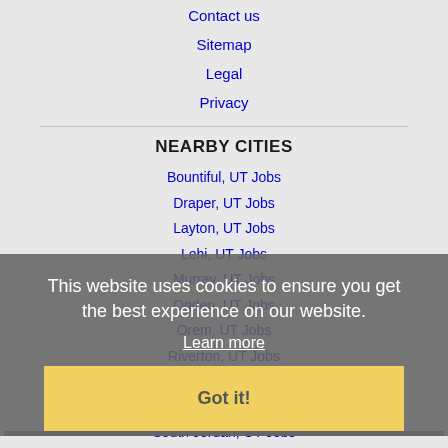Contact us
Sitemap
Legal
Privacy
NEARBY CITIES
Bountiful, UT Jobs
Draper, UT Jobs
Layton, UT Jobs
Lehi, UT Jobs
Murray, UT Jobs
Ogden, UT Jobs
Orem, UT Jobs
Riverton, UT Jobs
Salt Lake City, UT Jobs
Sandy, UT Jobs
South Jordan, UT Jobs
This website uses cookies to ensure you get the best experience on our website.
Learn more
Got it!